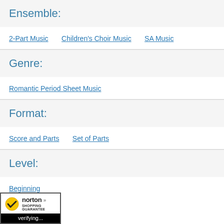Ensemble:
2-Part Music
Children's Choir Music
SA Music
Genre:
Romantic Period Sheet Music
Format:
Score and Parts
Set of Parts
Level:
Beginning
[Figure (logo): Norton Shopping Guarantee badge with checkmark logo, 'norton' text with double-arrow, 'SHOPPING GUARANTEE' text, and 'verifying...' text on black background]